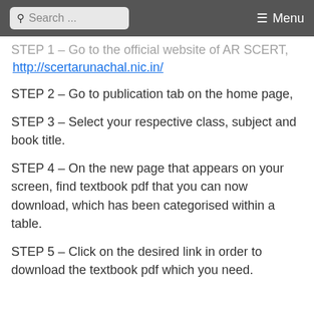Search ... Menu
STEP 1 – Go to the official website of AR SCERT, http://scertarunachal.nic.in/
STEP 2 – Go to publication tab on the home page,
STEP 3 – Select your respective class, subject and book title.
STEP 4 – On the new page that appears on your screen, find textbook pdf that you can now download, which has been categorised within a table.
STEP 5 – Click on the desired link in order to download the textbook pdf which you need.